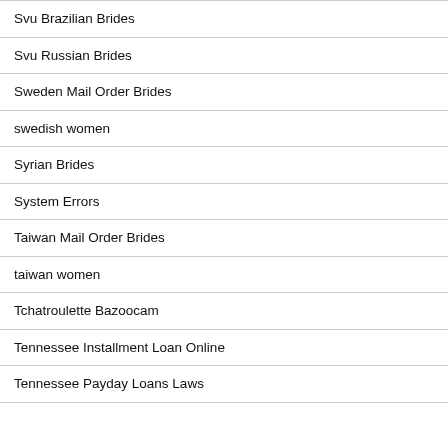Svu Brazilian Brides
Svu Russian Brides
Sweden Mail Order Brides
swedish women
Syrian Brides
System Errors
Taiwan Mail Order Brides
taiwan women
Tchatroulette Bazoocam
Tennessee Installment Loan Online
Tennessee Payday Loans Laws